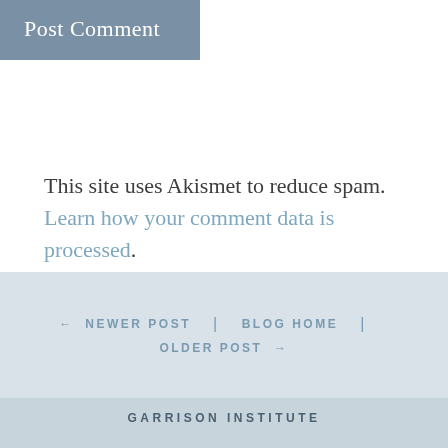[Figure (screenshot): A blue-grey 'Post Comment' button]
This site uses Akismet to reduce spam. Learn how your comment data is processed.
← NEWER POST  |  BLOG HOME  |  OLDER POST →
GARRISON INSTITUTE